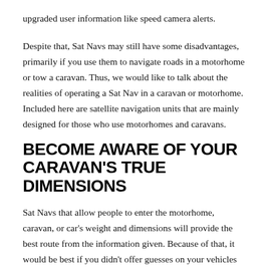upgraded user information like speed camera alerts.
Despite that, Sat Navs may still have some disadvantages, primarily if you use them to navigate roads in a motorhome or tow a caravan. Thus, we would like to talk about the realities of operating a Sat Nav in a caravan or motorhome. Included here are satellite navigation units that are mainly designed for those who use motorhomes and caravans.
BECOME AWARE OF YOUR CARAVAN'S TRUE DIMENSIONS
Sat Navs that allow people to enter the motorhome, caravan, or car's weight and dimensions will provide the best route from the information given. Because of that, it would be best if you didn't offer guesses on your vehicles actual dimensions & specs.